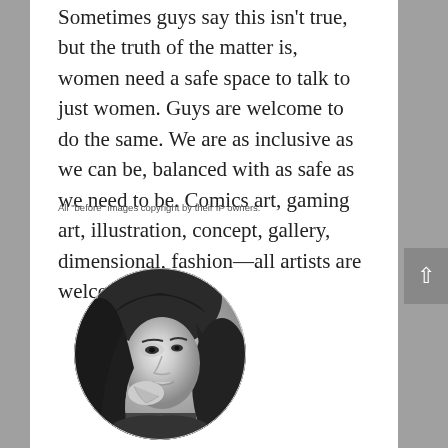Sometimes guys say this isn't true, but the truth of the matter is, women need a safe space to talk to just women. Guys are welcome to do the same. We are as inclusive as we can be, balanced with as safe as we need to be. Comics art, gaming art, illustration, concept, gallery, dimensional, fashion—all artists are welcome.
All "before" images copyright by their IP owners.
[Figure (photo): Black and white circular cropped portrait photo of a young woman with long dark hair, looking upward thoughtfully with her hand near her chin.]